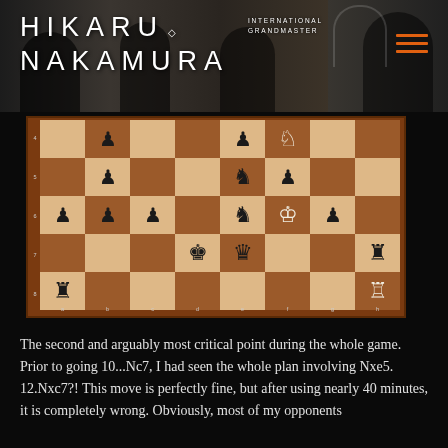HIKARU · INTERNATIONAL GRANDMASTER NAKAMURA
[Figure (photo): Chess board position showing an endgame/middlegame with black pawns on a2, b3, c3, b6, e7, f7, and rooks on a2 and h2, white knight on f5, black knight on e4 and c5, kings on d2 and e2, and rooks on a8 and h8]
The second and arguably most critical point during the whole game. Prior to going 10...Nc7, I had seen the whole plan involving Nxe5. 12.Nxc7?! This move is perfectly fine, but after using nearly 40 minutes, it is completely wrong. Obviously, most of my opponents